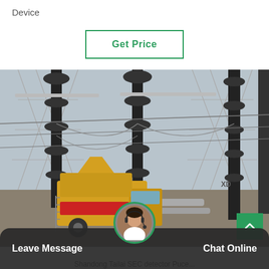Device
Get Price
[Figure (photo): Electrical substation with tall black insulator columns, high-voltage transmission towers and wires, and a yellow utility truck in the foreground. The XD brand logo is visible on equipment in the background.]
Leave Message
Chat Online
Shandong Tailai SEC detector Puce...